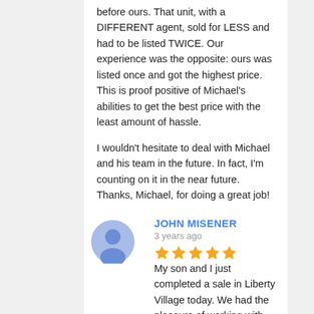before ours. That unit, with a DIFFERENT agent, sold for LESS and had to be listed TWICE.  Our experience was the opposite: ours was listed once and got the highest price.  This is proof positive of Michael's abilities to get the best price with the least amount of hassle.

I wouldn't hesitate to deal with Michael and his team in the future.  In fact, I'm counting on it in the near future.  Thanks, Michael, for doing a great job!
[Figure (illustration): Generic blue user avatar circle icon]
JOHN MISENER
3 years ago
★★★★★ My son and I just completed a sale in Liberty Village today. We had the pleasure of working with Michael